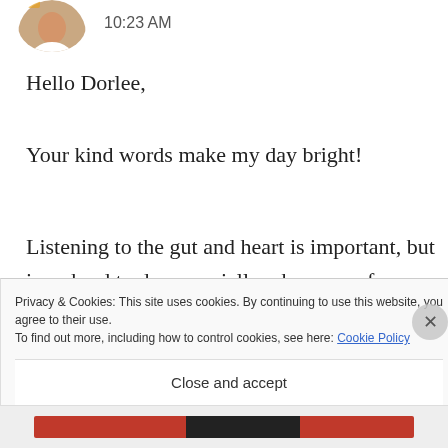[Figure (photo): Circular avatar/profile photo of a person, partially visible at top left]
10:23 AM
Hello Dorlee,
Your kind words make my day bright!
Listening to the gut and heart is important, but is so hard to do; especially when any of us are put in difficult situations. Albert Szent-
Privacy & Cookies: This site uses cookies. By continuing to use this website, you agree to their use.
To find out more, including how to control cookies, see here: Cookie Policy
Close and accept